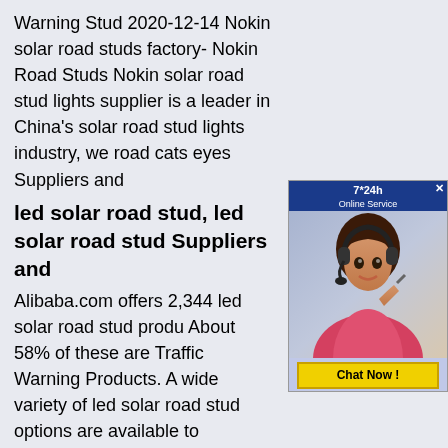Warning Stud 2020-12-14 Nokin solar road studs factory- Nokin Road Studs Nokin solar road stud lights supplier is a leader in China's solar road stud lights industry, we road cats eyes Suppliers and
[Figure (photo): Online customer service ad with 7*24h label, photo of woman with headset, and 'Chat Now!' button]
led solar road stud, led solar road stud Suppliers and
Alibaba.com offers 2,344 led solar road stud produ About 58% of these are Traffic Warning Products. A wide variety of led solar road stud options are available to
ABS Road Stud - Acrylonitrile Butadiene Styrene Road Stud
Find here ABS Road Stud, Acrylonitrile Butadiene Styrene Road Stud manufacturers, suppliers & exporters in China. Contact details & address of companies manufacturing and supplying ABS Road Stud, Acrylonitrile Butadiene Styrene Road Stud across China.
[Figure (logo): WhatsApp icon in green rounded square]